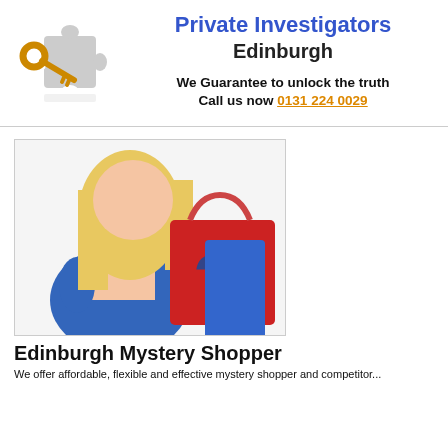[Figure (logo): Key inserted into puzzle piece logo for Private Investigators Edinburgh]
Private Investigators Edinburgh
We Guarantee to unlock the truth
Call us now 0131 224 0029
[Figure (photo): Woman with blonde hair seen from behind holding red shopping bags with a question mark on them - mystery shopper image]
Edinburgh Mystery Shopper
We offer affordable, flexible and effective mystery shopper and competitor...